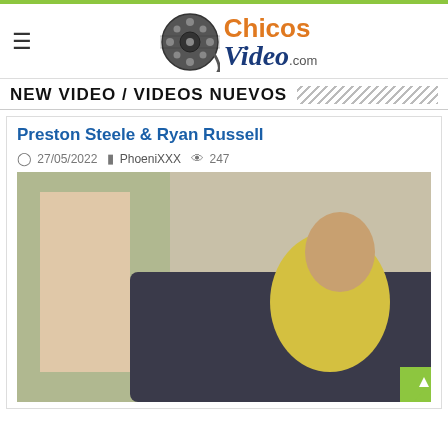[Figure (logo): ChicosVideo.com logo with film reel icon, 'Chicos' in orange bold text and 'Video' in dark blue italic with '.com' suffix]
NEW VIDEO / VIDEOS NUEVOS
Preston Steele & Ryan Russell
27/05/2022  PhoeniXXX  247
[Figure (photo): Thumbnail photo of two men in an indoor scene, one wearing a yellow shirt seated on a dark couch]